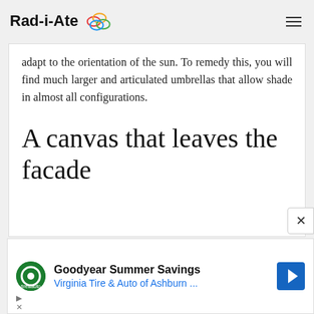Rad-i-Ate
adapt to the orientation of the sun. To remedy this, you will find much larger and articulated umbrellas that allow shade in almost all configurations.
A canvas that leaves the facade
Goodyear Summer Savings — Virginia Tire & Auto of Ashburn ...